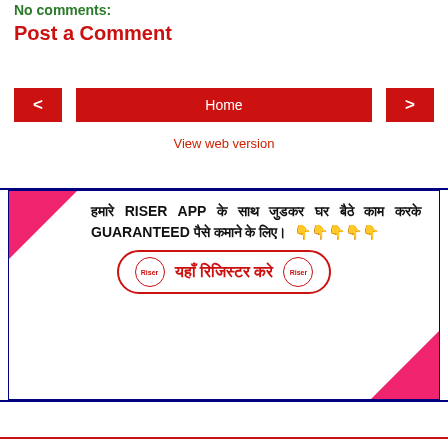No comments:
Post a Comment
< | Home | >
View web version
[Figure (infographic): Advertisement banner for Riser App with Hindi text: हमारे RISER APP के साथ जुडकर घर बैठे काम करके GUARANTEED पैसे कमाने के लिए। 👇👇👇👇👇 and a register button यहाँ रिजिस्टर करे]